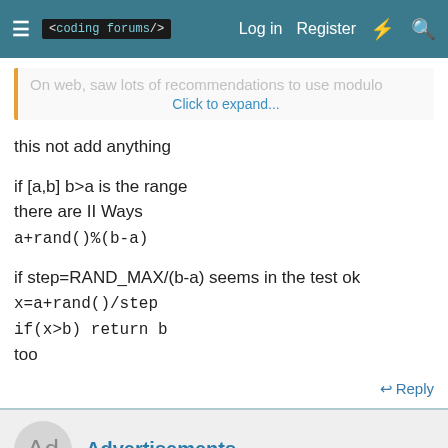< coding forums/>   Log in   Register
On web, saw lots of recommendations to use modulo   Click to expand...
this not add anything

if [a,b] b>a is the range
there are II Ways
a+rand()%(b-a)

if step=RAND_MAX/(b-a) seems in the test ok
x=a+rand()/step
if(x>b) return b
too
Reply
Advertisements